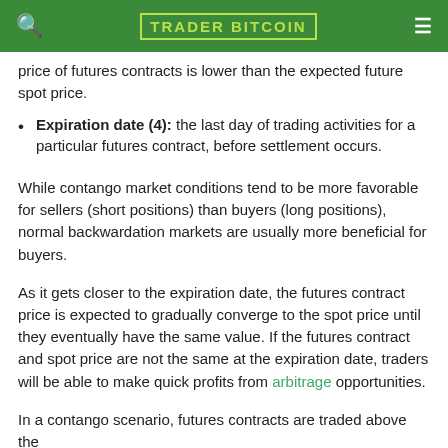TRADER BITCOIN
price of futures contracts is lower than the expected future spot price.
Expiration date (4): the last day of trading activities for a particular futures contract, before settlement occurs.
While contango market conditions tend to be more favorable for sellers (short positions) than buyers (long positions), normal backwardation markets are usually more beneficial for buyers.
As it gets closer to the expiration date, the futures contract price is expected to gradually converge to the spot price until they eventually have the same value. If the futures contract and spot price are not the same at the expiration date, traders will be able to make quick profits from arbitrage opportunities.
In a contango scenario, futures contracts are traded above the